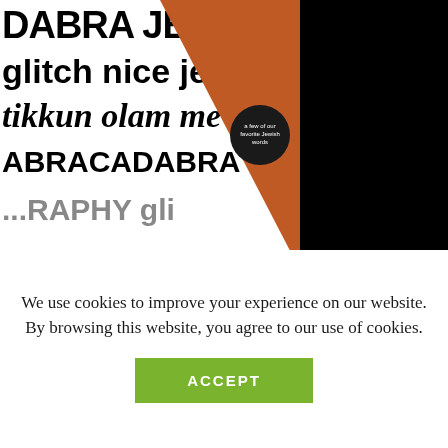[Figure (illustration): Magazine cover showing text words: DABRA JEWISH GEOGR, glitch nice jewish, tikkun olam me, ABRACADABRA JE, ...RAPHY gli, with orange triangle design and black circular badge reading 'a few of our favorite Jewish words', plus small text lines: '+ the new Jewish farmers + kosher cannabis cooking + the evolution of tyranny']
SUBSCRIBE
Get a year of Moment
We use cookies to improve your experience on our website. By browsing this website, you agree to our use of cookies.
ACCEPT